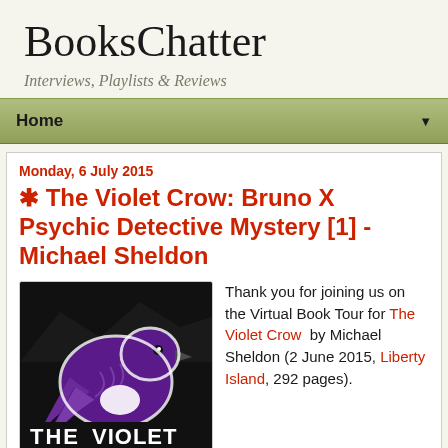BooksChatter
Interviews, Playlists & Reviews
Home ▼
Monday, 6 July 2015
✳ The Violet Crow: Bruno X Psychic Detective Mystery [1] - Michael Sheldon
[Figure (illustration): Book cover of The Violet Crow showing a purple crow on dark background with text 'THE VIOLET' at the bottom]
Thank you for joining us on the Virtual Book Tour for The Violet Crow by Michael Sheldon (2 June 2015, Liberty Island, 292 pages).